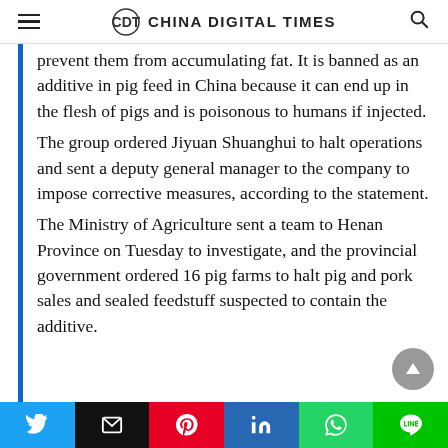CHINA DIGITAL TIMES
prevent them from accumulating fat. It is banned as an additive in pig feed in China because it can end up in the flesh of pigs and is poisonous to humans if injected.
The group ordered Jiyuan Shuanghui to halt operations and sent a deputy general manager to the company to impose corrective measures, according to the statement.
The Ministry of Agriculture sent a team to Henan Province on Tuesday to investigate, and the provincial government ordered 16 pig farms to halt pig and pork sales and sealed feedstuff suspected to contain the additive.
Twitter | Email | Pinterest | LinkedIn | WhatsApp | LINE